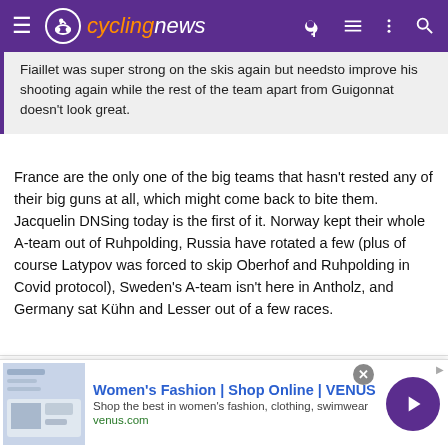cyclingnews
Fiaillet was super strong on the skis again but needsto improve his shooting again while the rest of the team apart from Guigonnat doesn't look great.
France are the only one of the big teams that hasn't rested any of their big guns at all, which might come back to bite them. Jacquelin DNSing today is the first of it. Norway kept their whole A-team out of Ruhpolding, Russia have rotated a few (plus of course Latypov was forced to skip Oberhof and Ruhpolding in Covid protocol), Sweden's A-team isn't here in Antholz, and Germany sat Kühn and Lesser out of a few races.
BigCoward
Mar 16, 2021  520  622  3,780
[Figure (screenshot): Ad banner: Women's Fashion | Shop Online | VENUS. Shop the best in women's fashion, clothing, swimwear. venus.com]